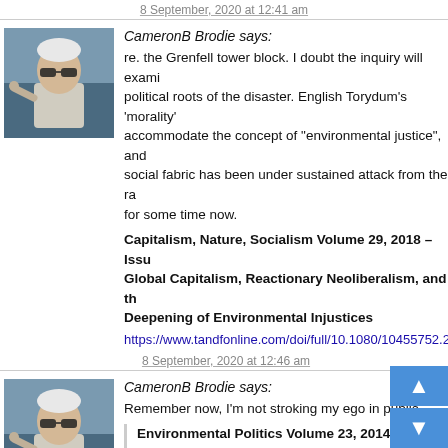8 September, 2020 at 12:41 am
CameronB Brodie says:
re. the Grenfell tower block. I doubt the inquiry will examine the political roots of the disaster. English Torydum's 'morality' can't accommodate the concept of "environmental justice", and Britain's social fabric has been under sustained attack from the radical right for some time now.
Capitalism, Nature, Socialism Volume 29, 2018 – Issue
Global Capitalism, Reactionary Neoliberalism, and the Deepening of Environmental Injustices
https://www.tandfonline.com/doi/full/10.1080/10455752.2...
8 September, 2020 at 12:46 am
CameronB Brodie says:
Remember now, I'm not stroking my ego in public.
Environmental Politics Volume 23, 2014 – Issue
Neoliberal environmental justice: mainstream environmental justice in political conflict over agricultural pesticides in the United States
Abstract